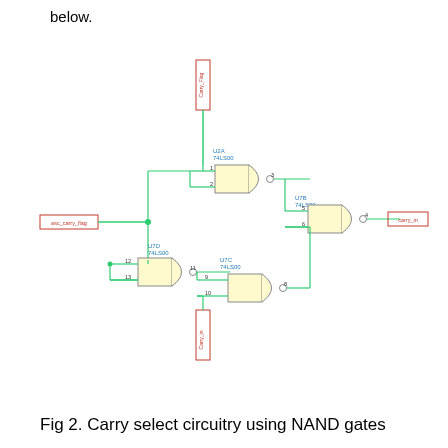below.
[Figure (circuit-diagram): Carry select circuitry using NAND gates. Shows three NAND gates (U2A 74LS00, U7B 74LS00, U7C 74LS00) and one gate (U7D 74LS00) interconnected with labeled pins and wires. Input labeled 'asc_carry_flag' on left, 'Carry_in' at top, 'carry_in' at right output. Two vertical connectors at top and bottom.]
Fig 2. Carry select circuitry using NAND gates
Here I've used a NAND gate in place of the
We use cookies to ensure that we give you the best experience on our website. If you continue to use this site we will assume that you are happy with it.